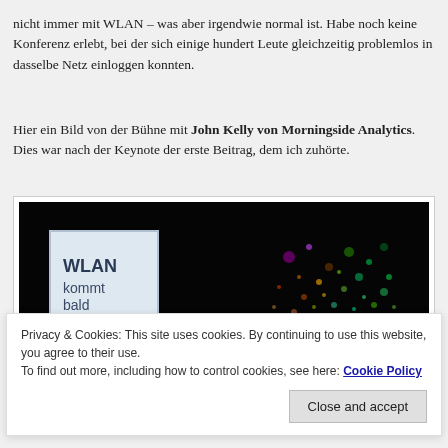nicht immer mit WLAN – was aber irgendwie normal ist. Habe noch keine Konferenz erlebt, bei der sich einige hundert Leute gleichzeitig problemlos in dasselbe Netz einloggen konnten.
Hier ein Bild von der Bühne mit John Kelly von Morningside Analytics. Dies war nach der Keynote der erste Beitrag, dem ich zuhörte.
[Figure (photo): Dark stage photo showing a presentation slide with 'WLAN kommt bald' text on a lit screen, with colorful light dots visible on the right side in the background.]
Privacy & Cookies: This site uses cookies. By continuing to use this website, you agree to their use. To find out more, including how to control cookies, see here: Cookie Policy